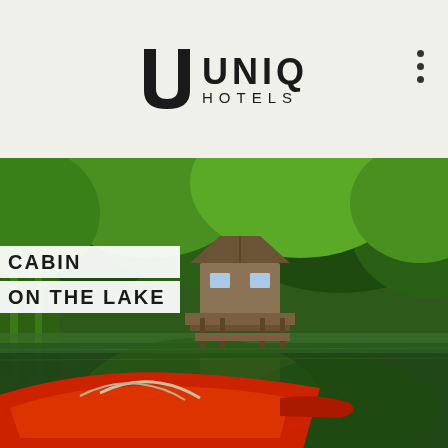[Figure (logo): UNIQ HOTELS logo with stylized U letter mark in black on light beige background]
[Figure (photo): Aerial/water-level photo of a wooden cabin on stilts beside a calm lake surrounded by lush green trees, with a red canoe in the foreground. White overlay text labels read CABIN and ON THE LAKE.]
MORE
Cabin On The Lake by Gwalia Farm has gotten that countryside retreat vibe down to a T. This adorable cabin sits right on the edge of a small lake with the most dreamy view. But, of course, there isn't much to do there – and that's the